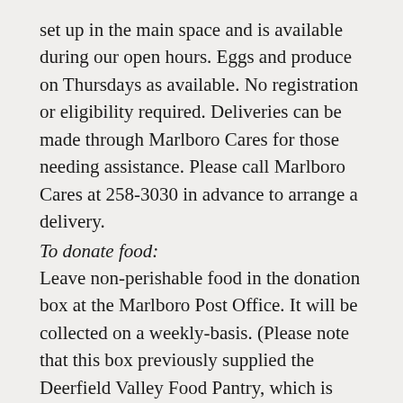set up in the main space and is available during our open hours. Eggs and produce on Thursdays as available. No registration or eligibility required. Deliveries can be made through Marlboro Cares for those needing assistance. Please call Marlboro Cares at 258-3030 in advance to arrange a delivery.
To donate food:
Leave non-perishable food in the donation box at the Marlboro Post Office. It will be collected on a weekly-basis. (Please note that this box previously supplied the Deerfield Valley Food Pantry, which is now distributing food exclusively from VT Food Pantry)
Gardeners and farmers are welcome to donate